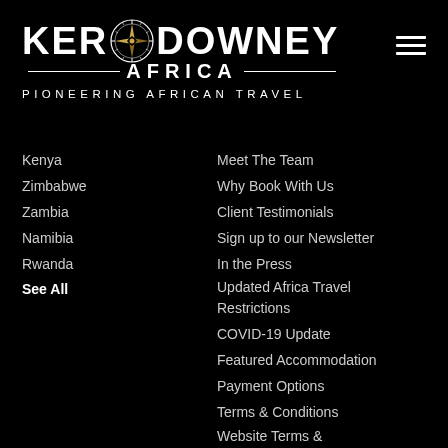[Figure (logo): Ker Downey Africa logo with compass rose between KER and DOWNEY, decorative lines flanking AFRICA text, and tagline PIONEERING AFRICAN TRAVEL]
Kenya
Zimbabwe
Zambia
Namibia
Rwanda
See All
Meet The Team
Why Book With Us
Client Testimonials
Sign up to our Newsletter
In the Press
Updated Africa Travel Restrictions
COVID-19 Update
Featured Accommodation
Payment Options
Terms & Conditions
Website Terms & Conditions
Privacy Policy